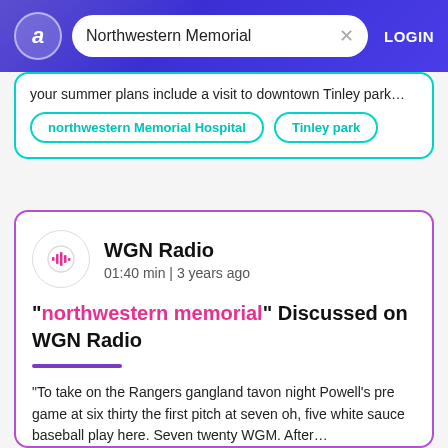[Figure (screenshot): App header with logo circle containing letter a, search bar showing 'Northwestern Memorial', X clear button, and LOGIN text on purple/blue gradient background]
your summer plans include a visit to downtown Tinley park…
northwestern Memorial Hospital    Tinley park
WGN Radio
01:40 min | 3 years ago
"northwestern memorial" Discussed on WGN Radio
"To take on the Rangers gangland tavon night Powell's pre game at six thirty the first pitch at seven oh, five white sauce baseball play here. Seven twenty WGM. After…"